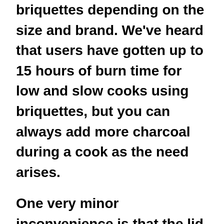briquettes depending on the size and brand. We've heard that users have gotten up to 15 hours of burn time for low and slow cooks using briquettes, but you can always add more charcoal during a cook as the need arises.
One very minor inconvenience is that the lid to the hopper opens toward the grill, so if the grill lid is up, the hopper lid cannot fully open. I'm not sure there's necessarily a scenario where one would need to have both open at the same time, but it does seem slightly odd that it was designed this way.